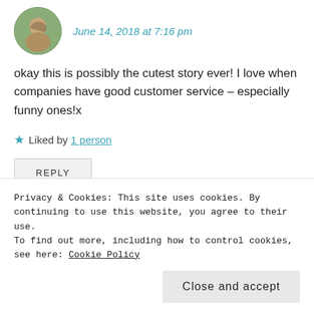[Figure (photo): Circular avatar photo of a person outdoors in a garden/nature setting]
June 14, 2018 at 7:16 pm
okay this is possibly the cutest story ever! I love when companies have good customer service – especially funny ones!x
★ Liked by 1 person
REPLY
[Figure (photo): Circular avatar photo of a person with brown hair]
DIARY OF A SPANGLISH GIRL
Privacy & Cookies: This site uses cookies. By continuing to use this website, you agree to their use.
To find out more, including how to control cookies, see here: Cookie Policy
Close and accept